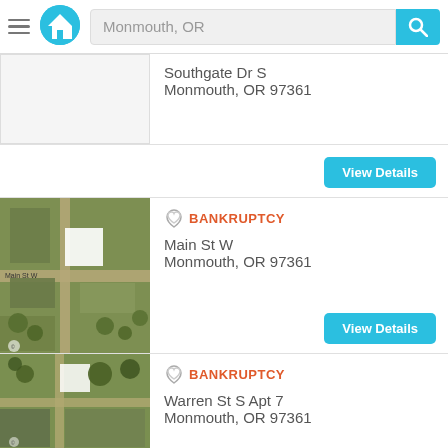Monmouth, OR
Southgate Dr S
Monmouth, OR 97361
View Details
BANKRUPTCY
Main St W
Monmouth, OR 97361
View Details
BANKRUPTCY
Warren St S Apt 7
Monmouth, OR 97361